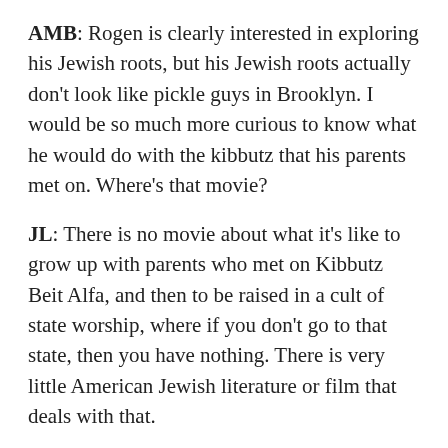AMB: Rogen is clearly interested in exploring his Jewish roots, but his Jewish roots actually don't look like pickle guys in Brooklyn. I would be so much more curious to know what he would do with the kibbutz that his parents met on. Where's that movie?
JL: There is no movie about what it's like to grow up with parents who met on Kibbutz Beit Alfa, and then to be raised in a cult of state worship, where if you don't go to that state, then you have nothing. There is very little American Jewish literature or film that deals with that.
AA: Transparent tried.
MC: Broad City tried.